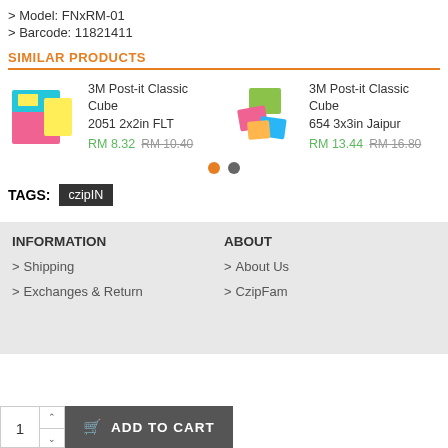Model: FNxRM-01
Barcode: 11821411
SIMILAR PRODUCTS
[Figure (photo): 3M Post-it Classic Cube 2051 2x2in FLT product image - colorful stacked sticky note cube]
3M Post-it Classic Cube 2051 2x2in FLT
RM 8.32  RM 10.40
[Figure (photo): 3M Post-it Classic Cube 654 3x3in Jaipur product image - colorful sticky notes scattered]
3M Post-it Classic Cube 654 3x3in Jaipur
RM 13.44  RM 16.80
TAGS: czipIN
INFORMATION
ABOUT
Shipping
About Us
Exchanges & Return
CzipFam